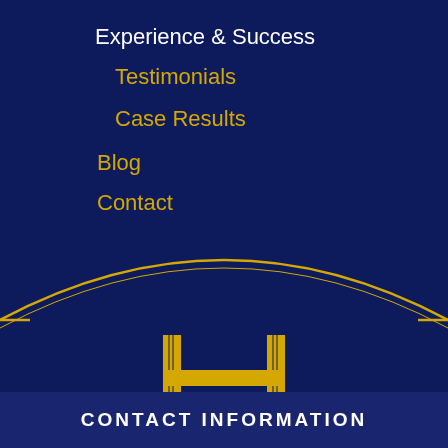Experience & Success
Testimonials
Case Results
Blog
Contact
[Figure (logo): Hogan Law Group PC logo with decorative H and golden arc divider]
CONTACT INFORMATION